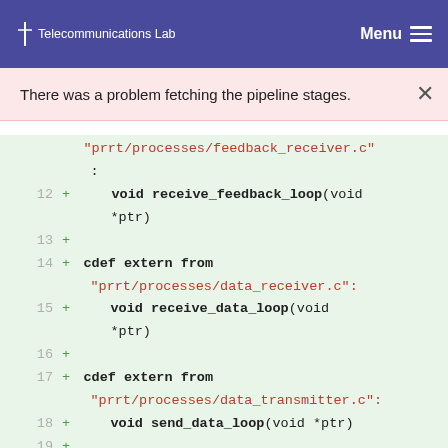Telecommunications Lab  Menu
There was a problem fetching the pipeline stages.
[Figure (screenshot): Code diff view showing lines 12-21 of a Cython/C extension file with green added lines. Line 12: void receive_feedback_loop(void *ptr), Line 13: +, Line 14: cdef extern from 'prrt/processes/data_receiver.c': void receive_data_loop(void *ptr), Line 15, 16: +, Line 17: cdef extern from 'prrt/processes/data_transmitter.c': void send_data_loop(void *ptr), Line 18, 19: +, Line 20: cdef extern from 'prrt/block.c': cprrt.PrrtPacket, Line 21: *PrrtBlock_get_first_data(cprrt.Prrt]